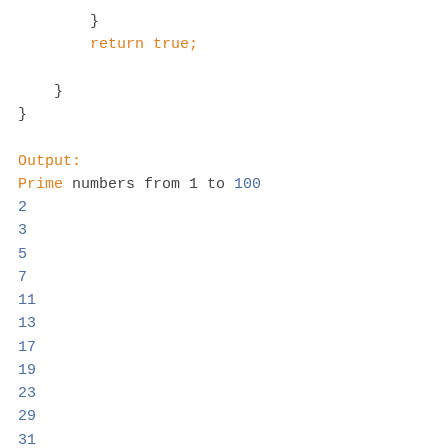}
        return true;

    }
}

Output:
Prime numbers from 1 to 100
2
3
5
7
11
13
17
19
23
29
31
37
41
43